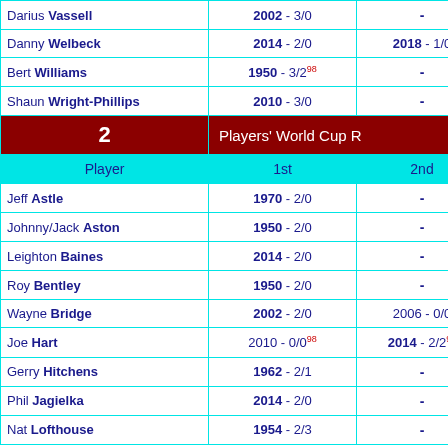| Player | 1st | 2nd |
| --- | --- | --- |
| Darius Vassell | 2002 - 3/0 | - |
| Danny Welbeck | 2014 - 2/0 | 2018 - 1/0 |
| Bert Williams | 1950 - 3/2⁹⁸ | - |
| Shaun Wright-Phillips | 2010 - 3/0 | - |
| 2 | Players' World Cup R |  |
| Player | 1st | 2nd |
| Jeff Astle | 1970 - 2/0 | - |
| Johnny/Jack Aston | 1950 - 2/0 | - |
| Leighton Baines | 2014 - 2/0 | - |
| Roy Bentley | 1950 - 2/0 | - |
| Wayne Bridge | 2002 - 2/0 | 2006 - 0/0 |
| Joe Hart | 2010 - 0/0⁹⁸ | 2014 - 2/2⁹⁸ |
| Gerry Hitchens | 1962 - 2/1 | - |
| Phil Jagielka | 2014 - 2/0 | - |
| Nat Lofthouse | 1954 - 2/3 | - |